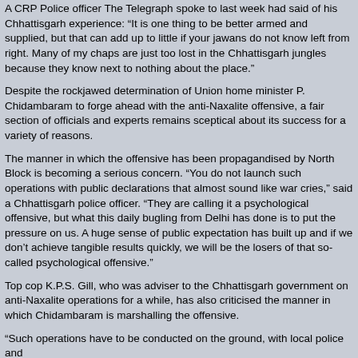A CRP Police officer The Telegraph spoke to last week had said of his Chhattisgarh experience: “It is one thing to be better armed and supplied, but that can add up to little if your jawans do not know left from right. Many of my chaps are just too lost in the Chhattisgarh jungles because they know next to nothing about the place.”
Despite the rockjawed determination of Union home minister P. Chidambaram to forge ahead with the anti-Naxalite offensive, a fair section of officials and experts remains sceptical about its success for a variety of reasons.
The manner in which the offensive has been propagandised by North Block is becoming a serious concern. “You do not launch such operations with public declarations that almost sound like war cries,” said a Chhattisgarh police officer. “They are calling it a psychological offensive, but what this daily bugling from Delhi has done is to put the pressure on us. A huge sense of public expectation has built up and if we don’t achieve tangible results quickly, we will be the losers of that so-called psychological offensive.”
Top cop K.P.S. Gill, who was adviser to the Chhattisgarh government on anti-Naxalite operations for a while, has also criticised the manner in which Chidambaram is marshalling the offensive.
“Such operations have to be conducted on the ground, with local police and